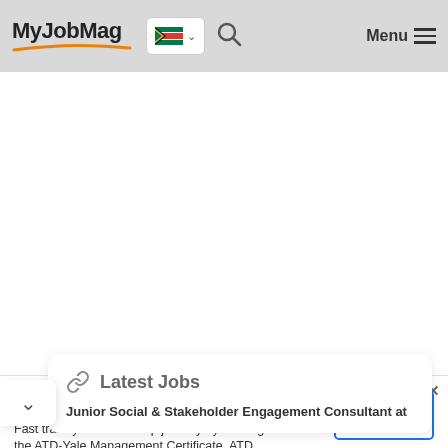MyJobMag — Menu
[Figure (screenshot): White empty content area (advertisement placeholder)]
Latest Jobs
Junior Social & Stakeholder Engagement Consultant at
Spots Fill Quickly
Fast track your leadership journey by earning the ATD-Yale Management Certificate. ATD
Open